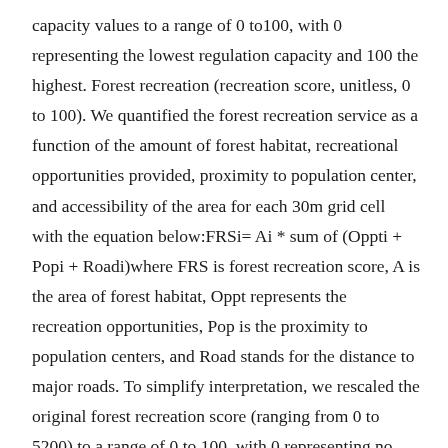capacity values to a range of 0 to100, with 0 representing the lowest regulation capacity and 100 the highest. Forest recreation (recreation score, unitless, 0 to 100). We quantified the forest recreation service as a function of the amount of forest habitat, recreational opportunities provided, proximity to population center, and accessibility of the area for each 30m grid cell with the equation below:FRSi= Ai * sum of (Oppti + Popi + Roadi)where FRS is forest recreation score, A is the area of forest habitat, Oppt represents the recreation opportunities, Pop is the proximity to population centers, and Road stands for the distance to major roads. To simplify interpretation, we rescaled the original forest recreation score (ranging from 0 to 5200) to a range of 0 to 100, with 0 representing no forest recreation service and 100 representing highest service. Several assumptions were made for this assessment approach. Larger areas and places with more recreational opportunities would